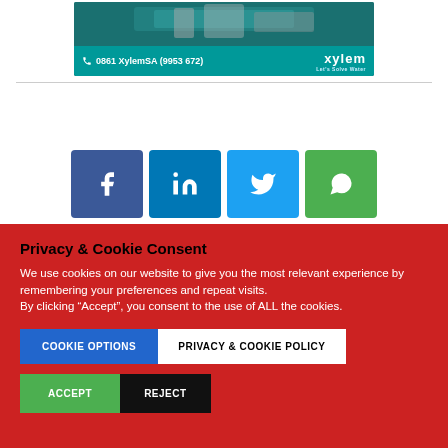[Figure (photo): Xylem banner advertisement showing industrial water equipment with teal background, phone number 0861 XylemSA (9953 672) and Xylem logo with tagline 'Let's Solve Water']
[Figure (infographic): Four social media share buttons: Facebook (dark blue), LinkedIn (blue), Twitter (light blue), WhatsApp (green)]
Privacy & Cookie Consent
We use cookies on our website to give you the most relevant experience by remembering your preferences and repeat visits.
By clicking “Accept”, you consent to the use of ALL the cookies.
COOKIE OPTIONS
PRIVACY & COOKIE POLICY
ACCEPT
REJECT